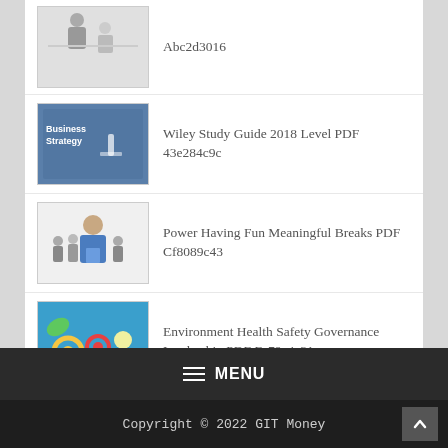Abc2d3016
Wiley Study Guide 2018 Level PDF 43e284c9c
Power Having Fun Meaningful Breaks PDF Cf8089c43
Environment Health Safety Governance Leadership PDF Fc79e4c31
Financing Masses Crowdfunding Jiazhu0 Wang PDF F699883cf
≡ MENU
Copyright © 2022 GIT Money